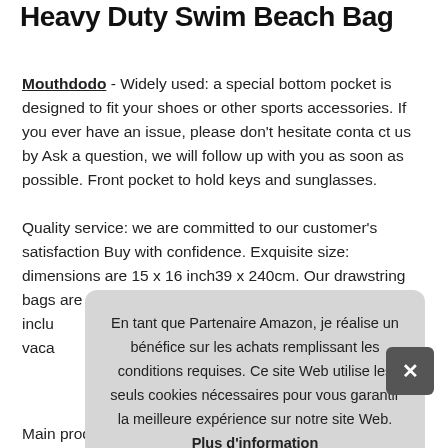Heavy Duty Swim Beach Bag
Mouthdodo - Widely used: a special bottom pocket is designed to fit your shoes or other sports accessories. If you ever have an issue, please don't hesitate conta ct us by Ask a question, we will follow up with you as soon as possible. Front pocket to hold keys and sunglasses.
Quality service: we are committed to our customer's satisfaction Buy with confidence. Exquisite size: dimensions are 15 x 16 inch39 x 240cm. Our drawstring bags are unisex and inclu vaca
En tant que Partenaire Amazon, je réalise un bénéfice sur les achats remplissant les conditions requises. Ce site Web utilise les seuls cookies nécessaires pour vous garantir la meilleure expérience sur notre site Web. Plus d'information
×
Main product has more content consists of items and